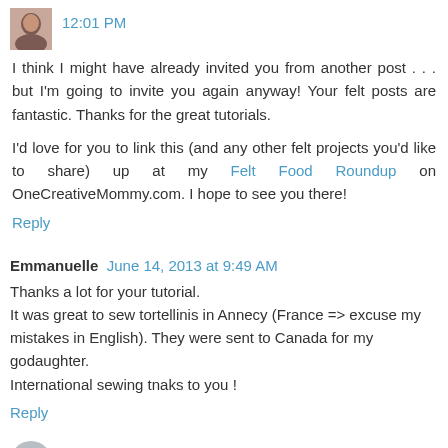12:01 PM
I think I might have already invited you from another post . . . but I'm going to invite you again anyway! Your felt posts are fantastic. Thanks for the great tutorials.
I'd love for you to link this (and any other felt projects you'd like to share) up at my Felt Food Roundup on OneCreativeMommy.com. I hope to see you there!
Reply
Emmanuelle  June 14, 2013 at 9:49 AM
Thanks a lot for your tutorial.
It was great to sew tortellinis in Annecy (France => excuse my mistakes in English). They were sent to Canada for my godaughter.
International sewing tnaks to you !
Reply
Enter Comment